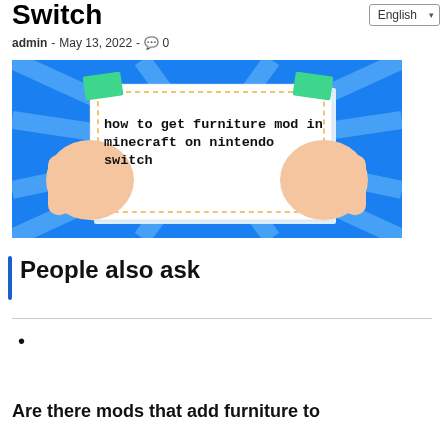Switch
admin - May 13, 2022 - 🗨 0
[Figure (illustration): Blue background with radiating light rays and two cartoon hands holding a white card. The card displays the text 'how to get furniture mod in minecraft on nintendo switch' in bold black serif font. Green tape pieces in corners.]
People also ask
Are there mods that add furniture to